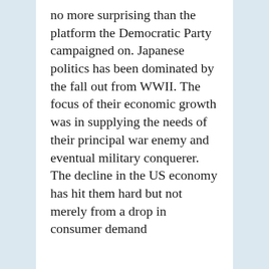no more surprising than the platform the Democratic Party campaigned on. Japanese politics has been dominated by the fall out from WWII. The focus of their economic growth was in supplying the needs of their principal war enemy and eventual military conquerer. The decline in the US economy has hit them hard but not merely from a drop in consumer demand